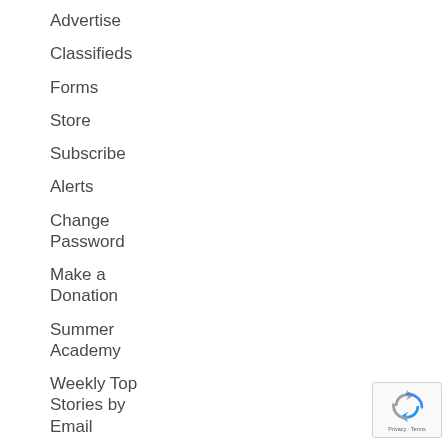Advertise
Classifieds
Forms
Store
Subscribe
Alerts
Change Password
Make a Donation
Summer Academy
Weekly Top Stories by Email
[Figure (logo): reCAPTCHA badge with rotating arrows icon and Privacy · Terms text]